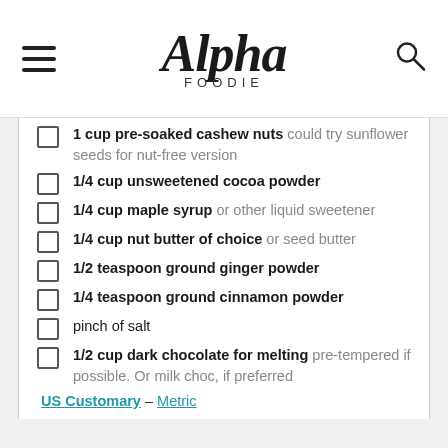Alpha FOODIE
1 cup pre-soaked cashew nuts could try sunflower seeds for nut-free version
1/4 cup unsweetened cocoa powder
1/4 cup maple syrup or other liquid sweetener
1/4 cup nut butter of choice or seed butter
1/2 teaspoon ground ginger powder
1/4 teaspoon ground cinnamon powder
pinch of salt
1/2 cup dark chocolate for melting pre-tempered if possible. Or milk choc, if preferred
US Customary – Metric